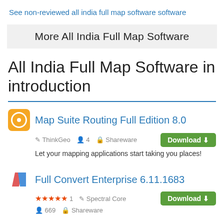See non-reviewed all india full map software software
More All India Full Map Software
All India Full Map Software in introduction
Map Suite Routing Full Edition 8.0
ThinkGeo  4  Shareware
Let your mapping applications start taking you places!
Full Convert Enterprise 6.11.1683
★★★★★ 1  Spectral Core  669  Shareware